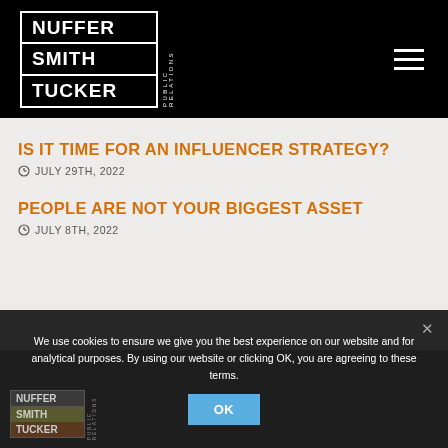NUFFER SMITH TUCKER PUBLIC RELATIONS
IS IT TIME FOR AN INFLUENCER STRATEGY?
JULY 29TH, 2022
PEOPLE ARE NOT YOUR BIGGEST ASSET
JULY 8TH, 2022
We use cookies to ensure we give you the best experience on our website and for analytical purposes. By using our website or clicking OK, you are agreeing to these terms.